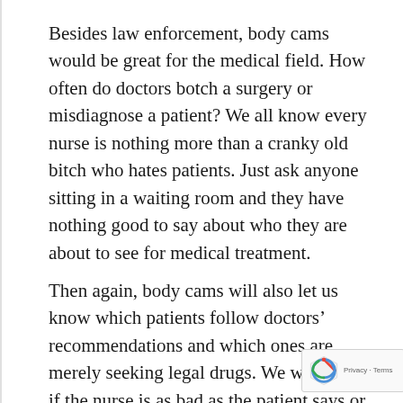Besides law enforcement, body cams would be great for the medical field. How often do doctors botch a surgery or misdiagnose a patient? We all know every nurse is nothing more than a cranky old bitch who hates patients. Just ask anyone sitting in a waiting room and they have nothing good to say about who they are about to see for medical treatment.
Then again, body cams will also let us know which patients follow doctors’ recommendations and which ones are merely seeking legal drugs. We will know if the nurse is as bad as the patient says or if the patient is just a rude SOB. Is it really the doctor’s fault the patient is not getting better or the two packs of cigarettes, 12 pack of beer, and